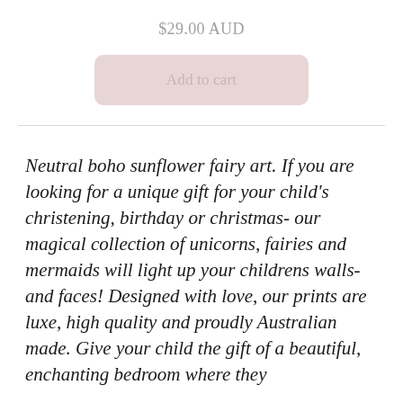$29.00 AUD
[Figure (other): Add to cart button with pink/blush background]
Neutral boho sunflower fairy art. If you are looking for a unique gift for your child's christening, birthday or christmas- our magical collection of unicorns, fairies and mermaids will light up your childrens walls- and faces! Designed with love, our prints are luxe, high quality and proudly Australian made. Give your child the gift of a beautiful, enchanting bedroom where they